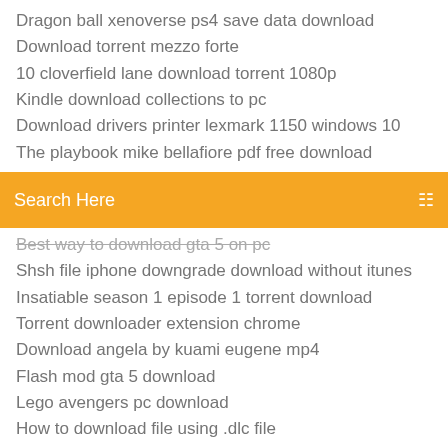Dragon ball xenoverse ps4 save data download
Download torrent mezzo forte
10 cloverfield lane download torrent 1080p
Kindle download collections to pc
Download drivers printer lexmark 1150 windows 10
The playbook mike bellafiore pdf free download
[Figure (screenshot): Orange search bar with text 'Search Here' and a menu icon on the right]
Best way to download gta 5 on pc
Shsh file iphone downgrade download without itunes
Insatiable season 1 episode 1 torrent download
Torrent downloader extension chrome
Download angela by kuami eugene mp4
Flash mod gta 5 download
Lego avengers pc download
How to download file using .dlc file
Vimeo download for pc windows 10
Play store wont download apps on mobile data
Download steep pc reddit